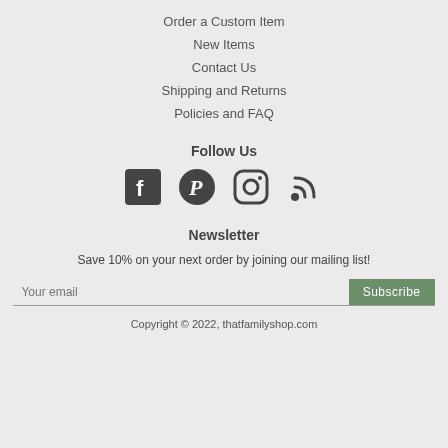Order a Custom Item
New Items
Contact Us
Shipping and Returns
Policies and FAQ
Follow Us
[Figure (illustration): Social media icons: Facebook, Pinterest, Instagram, RSS feed]
Newsletter
Save 10% on your next order by joining our mailing list!
Your email [Subscribe button]
Copyright © 2022, thatfamilyshop.com